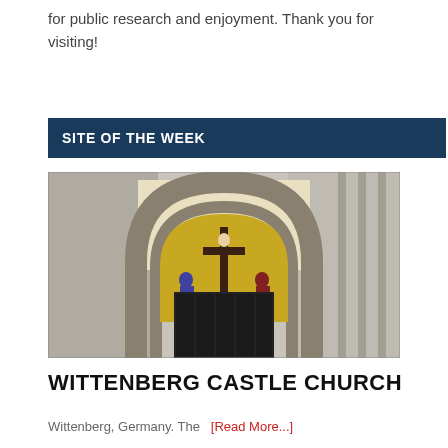for public research and enjoyment. Thank you for visiting!
SITE OF THE WEEK
[Figure (photo): Photo of the Wittenberg Castle Church entrance portal, showing a large Gothic arched doorway with a mosaic depicting the crucifixion above the doors, flanked by stone columns and walls.]
WITTENBERG CASTLE CHURCH
Wittenberg, Germany. The  [Read More...]